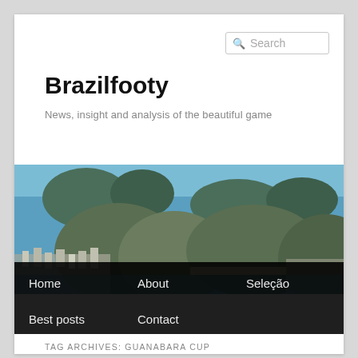Search
Brazilfooty
News, insight and analysis of the beautiful game
[Figure (photo): Aerial panoramic photo of Rio de Janeiro showing mountains, coast, bay and city]
Home
About
Seleção
Best posts
Contact
TAG ARCHIVES: GUANABARA CUP